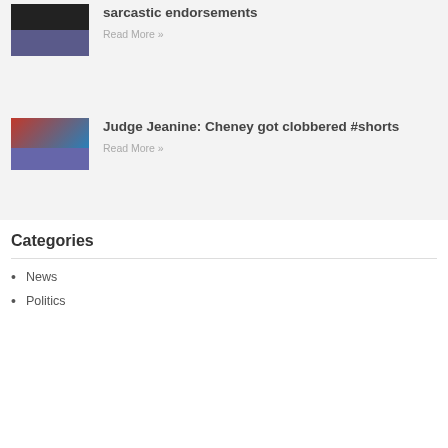[Figure (photo): TV news anchor screenshot thumbnail (partial, top of page)]
sarcastic endorsements
Read More »
[Figure (photo): TV news screenshot showing Judge Jeanine segment with red banner]
Judge Jeanine: Cheney got clobbered #shorts
Read More »
Categories
News
Politics